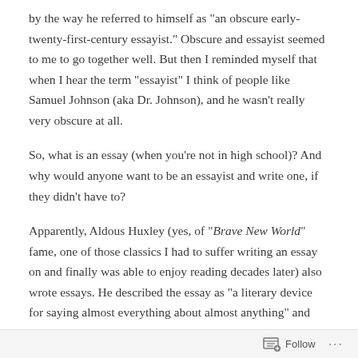by the way he referred to himself as "an obscure early-twenty-first-century essayist." Obscure and essayist seemed to me to go together well. But then I reminded myself that when I hear the term "essayist" I think of people like Samuel Johnson (aka Dr. Johnson), and he wasn't really very obscure at all.
So, what is an essay (when you're not in high school)? And why would anyone want to be an essayist and write one, if they didn't have to?
Apparently, Aldous Huxley (yes, of "Brave New World" fame, one of those classics I had to suffer writing an essay on and finally was able to enjoy reading decades later) also wrote essays. He described the essay as "a literary device for saying almost everything about almost anything" and added that it is
Follow ···